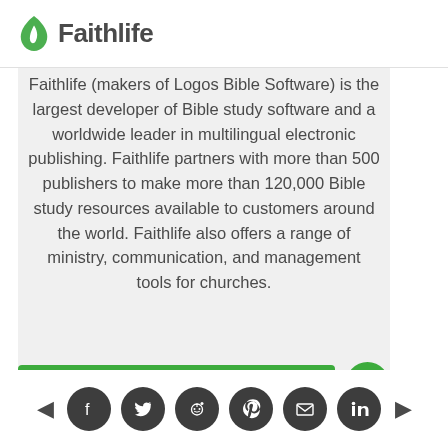Faithlife
Faithlife (makers of Logos Bible Software) is the largest developer of Bible study software and a worldwide leader in multilingual electronic publishing. Faithlife partners with more than 500 publishers to make more than 120,000 Bible study resources available to customers around the world. Faithlife also offers a range of ministry, communication, and management tools for churches.
[Figure (other): View all articles button and a link icon button]
Social sharing icons: Facebook, Twitter, Reddit, Pinterest, Email, LinkedIn with navigation arrows